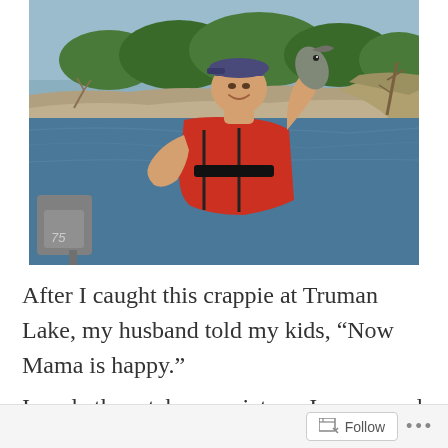[Figure (photo): A woman wearing a red life vest and blue baseball cap, smiling and holding up a crappie fish she caught. She is on a boat with a boat motor visible on the left. Background shows a lake, shoreline with trees and rocky bank.]
After I caught this crappie at Truman Lake, my husband told my kids, “Now Mama is happy.”
I made them take my picture. I was proud
Follow ...